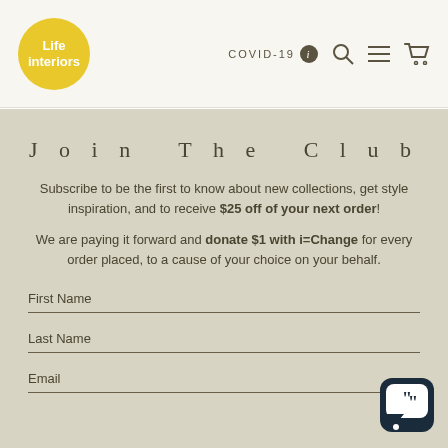[Figure (logo): Life Interiors logo - yellow circle with white text]
COVID-19  [search] [menu] [cart]
Join The Club
Subscribe to be the first to know about new collections, get style inspiration, and to receive $25 off of your next order!
We are paying it forward and donate $1 with i=Change for every order placed, to a cause of your choice on your behalf.
First Name
Last Name
Email